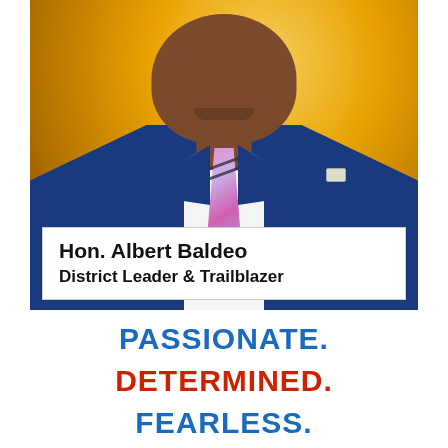[Figure (photo): Close-up photo of Hon. Albert Baldeo, a man in a dark navy blue suit with a pink/purple striped tie, white shirt, and a small pin on his lapel. Background is a golden/amber bokeh. A white name plate box overlays the lower portion of the photo.]
Hon. Albert Baldeo
District Leader & Trailblazer
PASSIONATE.
DETERMINED.
FEARLESS.